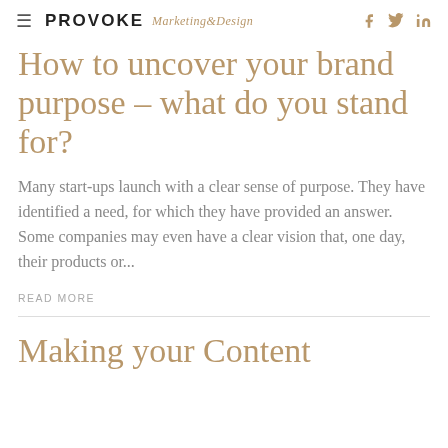PROVOKE Marketing&Design
How to uncover your brand purpose – what do you stand for?
Many start-ups launch with a clear sense of purpose. They have identified a need, for which they have provided an answer. Some companies may even have a clear vision that, one day, their products or...
READ MORE
Making your Content